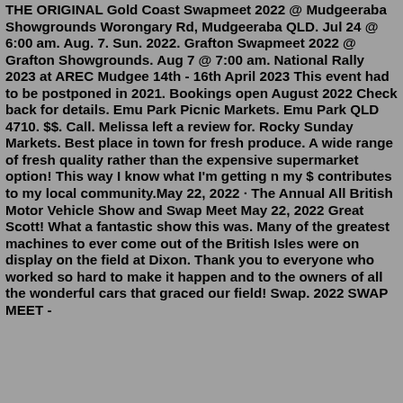THE ORIGINAL Gold Coast Swapmeet 2022 @ Mudgeeraba Showgrounds Worongary Rd, Mudgeeraba QLD. Jul 24 @ 6:00 am. Aug. 7. Sun. 2022. Grafton Swapmeet 2022 @ Grafton Showgrounds. Aug 7 @ 7:00 am. National Rally 2023 at AREC Mudgee 14th - 16th April 2023 This event had to be postponed in 2021. Bookings open August 2022 Check back for details. Emu Park Picnic Markets. Emu Park QLD 4710. $$. Call. Melissa left a review for. Rocky Sunday Markets. Best place in town for fresh produce. A wide range of fresh quality rather than the expensive supermarket option! This way I know what I'm getting n my $ contributes to my local community.May 22, 2022 · The Annual All British Motor Vehicle Show and Swap Meet May 22, 2022 Great Scott! What a fantastic show this was. Many of the greatest machines to ever come out of the British Isles were on display on the field at Dixon. Thank you to everyone who worked so hard to make it happen and to the owners of all the wonderful cars that graced our field! Swap. 2022 SWAP MEET -